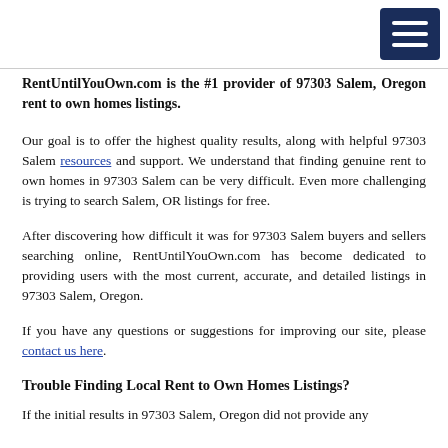RentUntilYouOwn.com is the #1 provider of 97303 Salem, Oregon rent to own homes listings.
Our goal is to offer the highest quality results, along with helpful 97303 Salem resources and support. We understand that finding genuine rent to own homes in 97303 Salem can be very difficult. Even more challenging is trying to search Salem, OR listings for free.
After discovering how difficult it was for 97303 Salem buyers and sellers searching online, RentUntilYouOwn.com has become dedicated to providing users with the most current, accurate, and detailed listings in 97303 Salem, Oregon.
If you have any questions or suggestions for improving our site, please contact us here.
Trouble Finding Local Rent to Own Homes Listings?
If the initial results in 97303 Salem, Oregon did not provide any